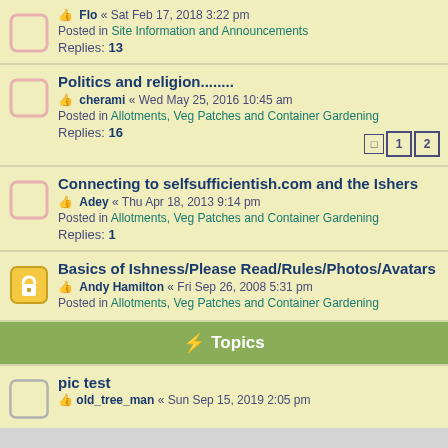Flo « Sat Feb 17, 2018 3:22 pm
Posted in Site Information and Announcements
Replies: 13
Politics and religion........
cherami « Wed May 25, 2016 10:45 am
Posted in Allotments, Veg Patches and Container Gardening
Replies: 16
Connecting to selfsufficientish.com and the Ishers
Adey « Thu Apr 18, 2013 9:14 pm
Posted in Allotments, Veg Patches and Container Gardening
Replies: 1
Basics of Ishness/Please Read/Rules/Photos/Avatars
Andy Hamilton « Fri Sep 26, 2008 5:31 pm
Posted in Allotments, Veg Patches and Container Gardening
⚡ Topics
pic test
old_tree_man « Sun Sep 15, 2019 2:05 pm